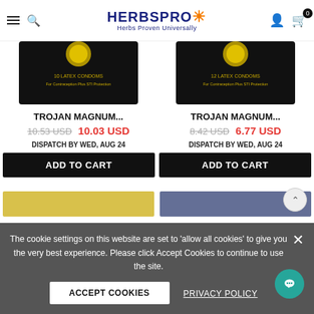HerbsPro - Herbs Proven Universally
[Figure (screenshot): Product card left: Trojan Magnum condom box (black) - 10 latex condoms]
TROJAN MAGNUM...
10.53 USD  10.03 USD
DISPATCH BY WED, AUG 24
ADD TO CART
[Figure (screenshot): Product card right: Trojan Magnum condom box (black) - 12 latex condoms]
TROJAN MAGNUM...
8.42 USD  6.77 USD
DISPATCH BY WED, AUG 24
ADD TO CART
The cookie settings on this website are set to 'allow all cookies' to give you the very best experience. Please click Accept Cookies to continue to use the site.
ACCEPT COOKIES
PRIVACY POLICY